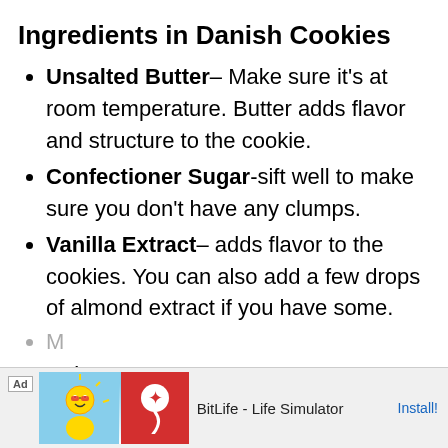Ingredients in Danish Cookies
Unsalted Butter– Make sure it's at room temperature. Butter adds flavor and structure to the cookie.
Confectioner Sugar-sift well to make sure you don't have any clumps.
Vanilla Extract– adds flavor to the cookies. You can also add a few drops of almond extract if you have some.
[Figure (screenshot): Ad banner for BitLife - Life Simulator app with Install button]
M... n out (partially visible behind ad)